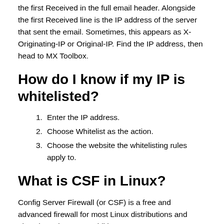the first Received in the full email header. Alongside the first Received line is the IP address of the server that sent the email. Sometimes, this appears as X-Originating-IP or Original-IP. Find the IP address, then head to MX Toolbox.
How do I know if my IP is whitelisted?
Enter the IP address.
Choose Whitelist as the action.
Choose the website the whitelisting rules apply to.
What is CSF in Linux?
Config Server Firewall (or CSF) is a free and advanced firewall for most Linux distributions and Linux based VPS. In addition